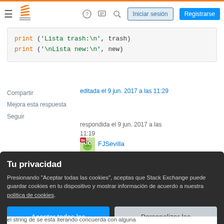Stack Exchange navigation bar with hamburger menu, logo, icons, Iniciar sesión, Registrarse
[Figure (screenshot): Code block showing: print ('Lista trash:\n', trash)  print ('\nLista new:\n', new)]
Compartir
Mejora esta respuesta
Seguir
editada el 9 jun. 2017 a las 11:29
respondida el 9 jun. 2017 a las 11:19
[Figure (illustration): FJSevilla user avatar - pixel art frog character]
FJSevilla
Tu privacidad
Presionando "Aceptar todas las cookies", aceptas que Stack Exchange puede guardar cookies en tu dispositivo y mostrar información de acuerdo a nuestra politica de cookies.
Aceptar todas las cookies | Personalizar las configuraciones
el string de se esta iterando concuerda con alguna